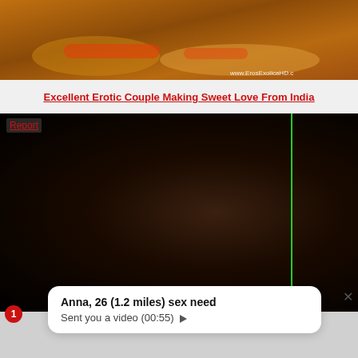[Figure (photo): Cropped image showing hands with bangles/bracelets on a decorative background with watermark www.ErosExolicaHD.c]
Excellent Erotic Couple Making Sweet Love From India
Report
[Figure (screenshot): Dark video thumbnail with a green vertical line on the right side]
Anna, 26 (1.2 miles) sex need
Sent you a video (00:55) ▶
Report